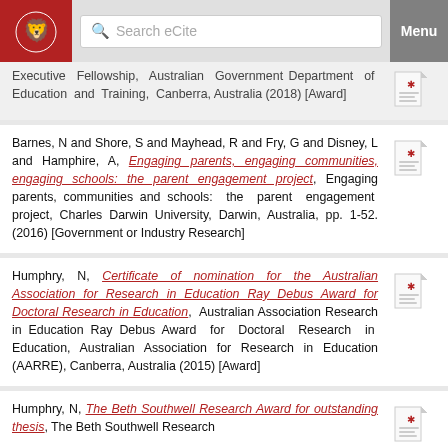Search eCite | Menu
Executive Fellowship, Australian Government Department of Education and Training, Canberra, Australia (2018) [Award]
Barnes, N and Shore, S and Mayhead, R and Fry, G and Disney, L and Hamphire, A, Engaging parents, engaging communities, engaging schools: the parent engagement project, Engaging parents, communities and schools: the parent engagement project, Charles Darwin University, Darwin, Australia, pp. 1-52. (2016) [Government or Industry Research]
Humphry, N, Certificate of nomination for the Australian Association for Research in Education Ray Debus Award for Doctoral Research in Education, Australian Association Research in Education Ray Debus Award for Doctoral Research in Education, Australian Association for Research in Education (AARRE), Canberra, Australia (2015) [Award]
Humphry, N, The Beth Southwell Research Award for outstanding thesis, The Beth Southwell Research